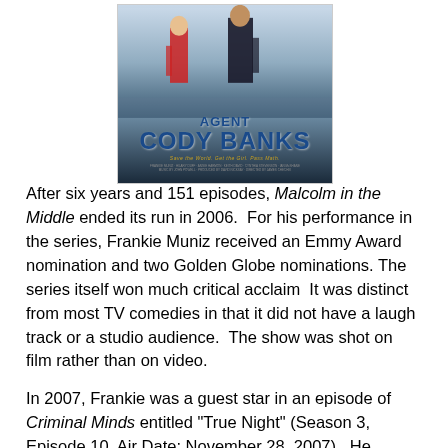[Figure (photo): Movie poster for 'Agent Cody Banks' showing figures walking, with blue and silver tones, the title in bold dark blue letters, and tagline 'Save the World. Get the Girl. Pass Math.']
After six years and 151 episodes, Malcolm in the Middle ended its run in 2006.  For his performance in the series, Frankie Muniz received an Emmy Award nomination and two Golden Globe nominations. The series itself won much critical acclaim  It was distinct from most TV comedies in that it did not have a laugh track or a studio audience.  The show was shot on film rather than on video.
In 2007, Frankie was a guest star in an episode of Criminal Minds entitled "True Night" (Season 3, Episode 10, Air Date: November 28, 2007).  He played Jonny McHale, a graphic novelist with links to a number of horrific murders.